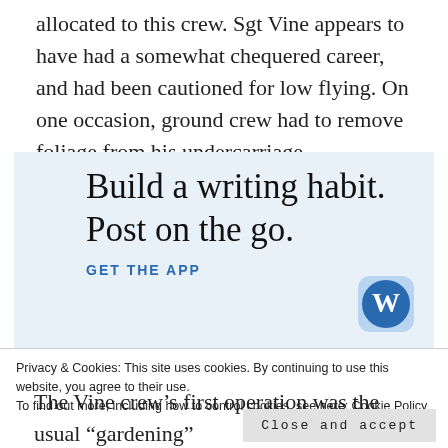allocated to this crew. Sgt Vine appears to have had a somewhat chequered career, and had been cautioned for low flying. On one occasion, ground crew had to remove foliage from his undercarriage.
[Figure (other): WordPress app advertisement with light blue background. Large serif text reads 'Build a writing habit. Post on the go.' with a 'GET THE APP' call-to-action link and WordPress circular logo icon.]
Privacy & Cookies: This site uses cookies. By continuing to use this website, you agree to their use. To find out more, including how to control cookies, see here: Cookie Policy
Close and accept
The Vine crew’s first operation was the usual “gardening”